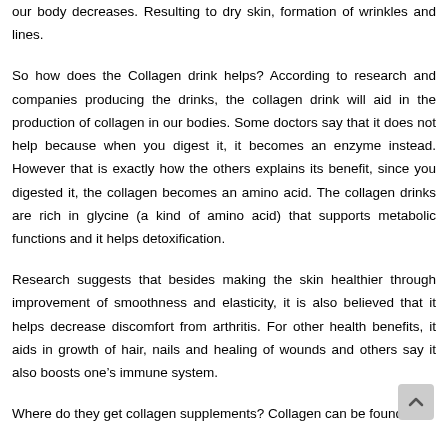our body decreases. Resulting to dry skin, formation of wrinkles and lines.
So how does the Collagen drink helps? According to research and companies producing the drinks, the collagen drink will aid in the production of collagen in our bodies. Some doctors say that it does not help because when you digest it, it becomes an enzyme instead. However that is exactly how the others explains its benefit, since you digested it, the collagen becomes an amino acid. The collagen drinks are rich in glycine (a kind of amino acid) that supports metabolic functions and it helps detoxification.
Research suggests that besides making the skin healthier through improvement of smoothness and elasticity, it is also believed that it helps decrease discomfort from arthritis. For other health benefits, it aids in growth of hair, nails and healing of wounds and others say it also boosts one's immune system.
Where do they get collagen supplements? Collagen can be found